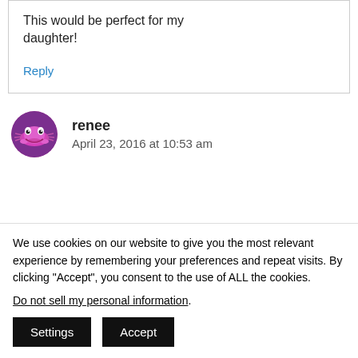This would be perfect for my daughter!
Reply
renee
April 23, 2016 at 10:53 am
We use cookies on our website to give you the most relevant experience by remembering your preferences and repeat visits. By clicking “Accept”, you consent to the use of ALL the cookies.
Do not sell my personal information.
Settings
Accept